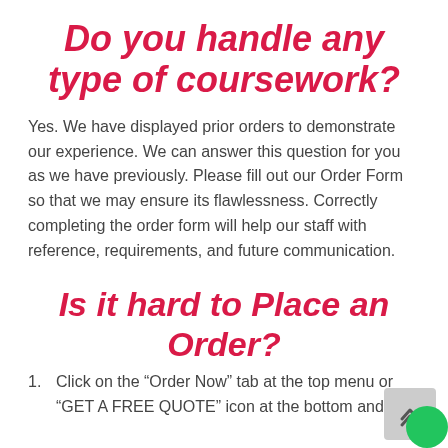Do you handle any type of coursework?
Yes. We have displayed prior orders to demonstrate our experience. We can answer this question for you as we have previously. Please fill out our Order Form so that we may ensure its flawlessness. Correctly completing the order form will help our staff with reference, requirements, and future communication.
Is it hard to Place an Order?
Click on the “Order Now” tab at the top menu or “GET A FREE QUOTE” icon at the bottom and a